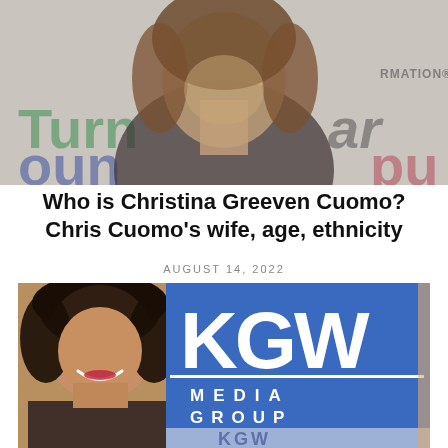[Figure (photo): A woman with long wavy brown hair wearing a black top, photographed in front of a step-and-repeat banner with text including 'Turnaround' and 'RMATION']
Who is Christina Greeven Cuomo? Chris Cuomo's wife, age, ethnicity
AUGUST 14, 2022
[Figure (photo): A woman with curly dark hair smiling, standing in front of a blue KGW Media Group banner/sign]